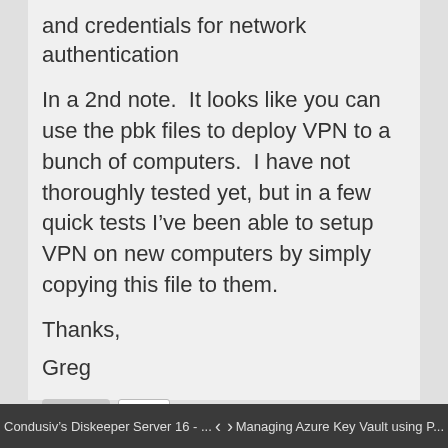and credentials for network authentication
In a 2nd note.  It looks like you can use the pbk files to deploy VPN to a bunch of computers.  I have not thoroughly tested yet, but in a few quick tests I’ve been able to setup VPN on new computers by simply copying this file to them.
Thanks,
Greg
REPLY
Condusiv’s Diskeeper Server 16 - ...  < >  Managing Azure Key Vault using P...